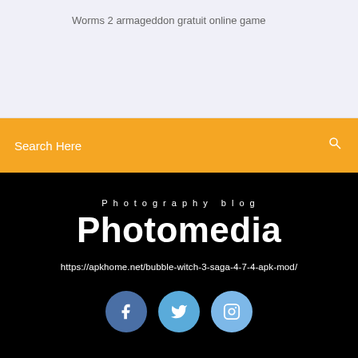Worms 2 armageddon gratuit online game
Search Here
Photography blog
Photomedia
https://apkhome.net/bubble-witch-3-saga-4-7-4-apk-mod/
[Figure (other): Social media icons: Facebook, Twitter, Instagram circles]